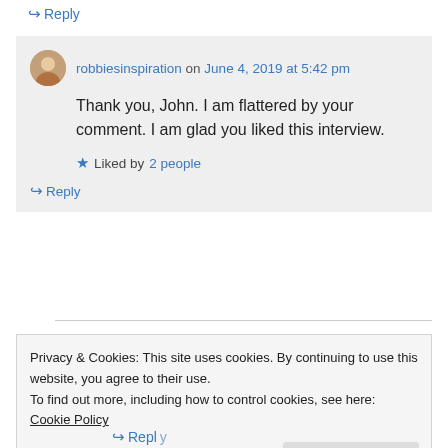↪ Reply
robbiesinspiration on June 4, 2019 at 5:42 pm
Thank you, John. I am flattered by your comment. I am glad you liked this interview.
★ Liked by 2 people
↪ Reply
Privacy & Cookies: This site uses cookies. By continuing to use this website, you agree to their use.
To find out more, including how to control cookies, see here: Cookie Policy
Close and accept
↪ Reply